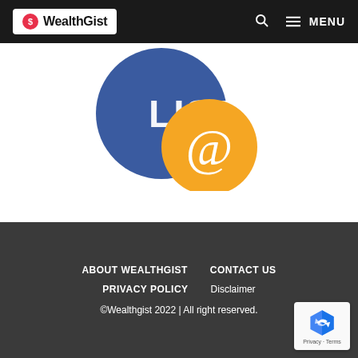WealthGist | MENU
[Figure (illustration): Illustration showing a blue circle with 'LIST' text and an orange circle with an '@' symbol, representing an email list concept]
ABOUT WEALTHGIST | CONTACT US | PRIVACY POLICY | Disclaimer | ©Wealthgist 2022 | All right reserved.